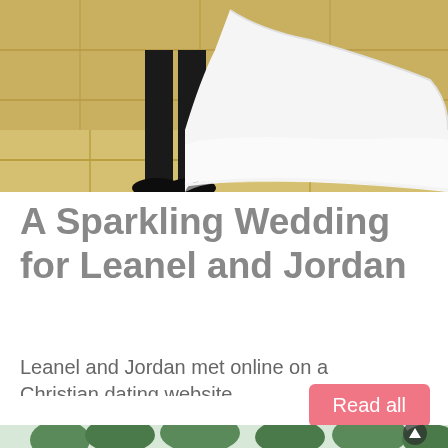[Figure (photo): Wedding photo showing lower halves of bride and groom walking on tiled floor, bride in white lace dress, groom in black suit and shoes, yellow/gold tiled wall and floor background]
A Sparkling Wedding for Leanel and Jordan
Leanel and Jordan met online on a Christian dating website...
[Figure (photo): Outdoor scene with trees along a road or waterfront, overcast sky, second article preview image]